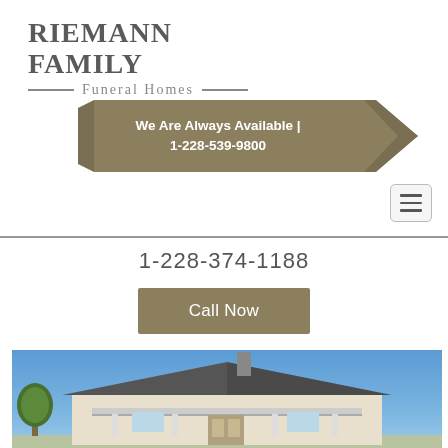Riemann Family Funeral Homes
We Are Always Available | 1-228-539-9800
1-228-374-1188
Call Now
[Figure (photo): Exterior photo of a funeral home building with a blue sky background, showing a white/cream building with dark roof and a chimney]